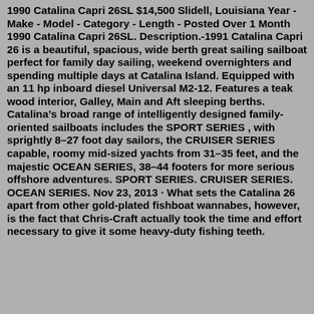1990 Catalina Capri 26SL $14,500 Slidell, Louisiana Year - Make - Model - Category - Length - Posted Over 1 Month 1990 Catalina Capri 26SL. Description.-1991 Catalina Capri 26 is a beautiful, spacious, wide berth great sailing sailboat perfect for family day sailing, weekend overnighters and spending multiple days at Catalina Island. Equipped with an 11 hp inboard diesel Universal M2-12. Features a teak wood interior, Galley, Main and Aft sleeping berths. Catalina's broad range of intelligently designed family-oriented sailboats includes the SPORT SERIES , with sprightly 8–27 foot day sailors, the CRUISER SERIES capable, roomy mid-sized yachts from 31–35 feet, and the majestic OCEAN SERIES, 38–44 footers for more serious offshore adventures. SPORT SERIES. CRUISER SERIES. OCEAN SERIES. Nov 23, 2013 · What sets the Catalina 26 apart from other gold-plated fishboat wannabes, however, is the fact that Chris-Craft actually took the time and effort necessary to give it some heavy-duty fishing teeth.